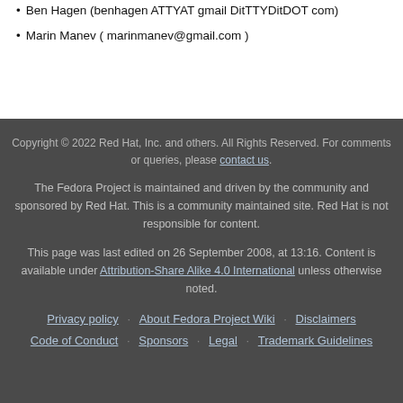Ben Hagen (benhagen ATTYAT gmail DitTTYDitDOT com)
Marin Manev ( marinmanev@gmail.com )
Copyright © 2022 Red Hat, Inc. and others. All Rights Reserved. For comments or queries, please contact us.

The Fedora Project is maintained and driven by the community and sponsored by Red Hat. This is a community maintained site. Red Hat is not responsible for content.

This page was last edited on 26 September 2008, at 13:16. Content is available under Attribution-Share Alike 4.0 International unless otherwise noted.

Privacy policy · About Fedora Project Wiki · Disclaimers · Code of Conduct · Sponsors · Legal · Trademark Guidelines